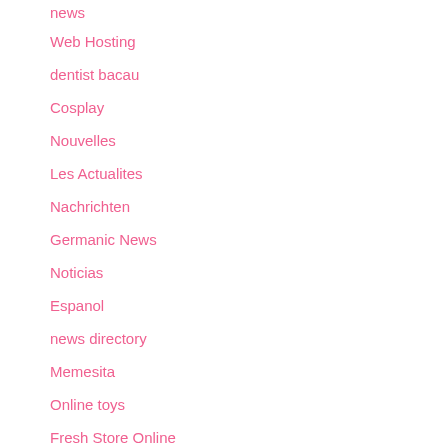news
Web Hosting
dentist bacau
Cosplay
Nouvelles
Les Actualites
Nachrichten
Germanic News
Noticias
Espanol
news directory
Memesita
Online toys
Fresh Store Online
Sales
Tele archives
Live Foods